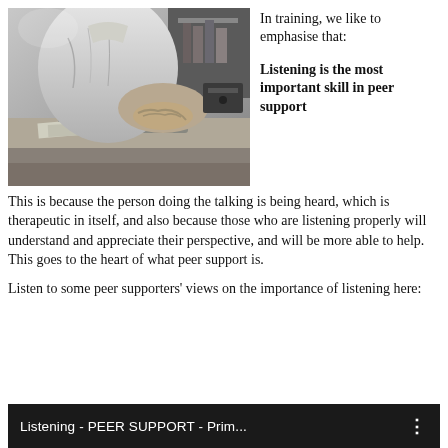[Figure (photo): Black and white photograph of a man leaning over a desk, appearing to be working or reading, with hands visible on papers or books.]
In training, we like to emphasise that:
Listening is the most important skill in peer support
This is because the person doing the talking is being heard, which is therapeutic in itself, and also because those who are listening properly will understand and appreciate their perspective, and will be more able to help. This goes to the heart of what peer support is.
Listen to some peer supporters' views on the importance of listening here:
[Figure (screenshot): Video thumbnail bar showing 'Listening - PEER SUPPORT - Prim...' with a three-dot menu icon on a dark/black background.]